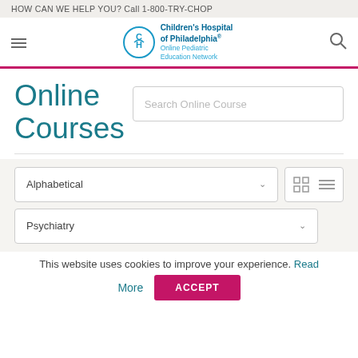HOW CAN WE HELP YOU? Call 1-800-TRY-CHOP
[Figure (logo): Children's Hospital of Philadelphia logo with CHOP emblem and text: Children's Hospital of Philadelphia, Online Pediatric Education Network]
Online Courses
Search Online Course (search input placeholder)
Alphabetical (dropdown)
Psychiatry (dropdown)
This website uses cookies to improve your experience. Read More
ACCEPT